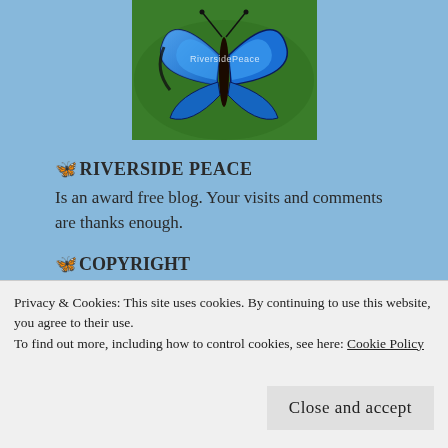[Figure (photo): Blue morpho butterfly with 'RiversidePeace' watermark on green background]
🦋RIVERSIDE PEACE
Is an award free blog. Your visits and comments are thanks enough.
🦋COPYRIGHT
All books, poems, photographs, fiction and non-fiction articles and stories on this website are © Chrissy Siggee and Riverside Peace unless otherwise stated. Unauthorized use and/or duplication of this material without the express
Privacy & Cookies: This site uses cookies. By continuing to use this website, you agree to their use.
To find out more, including how to control cookies, see here: Cookie Policy
Close and accept